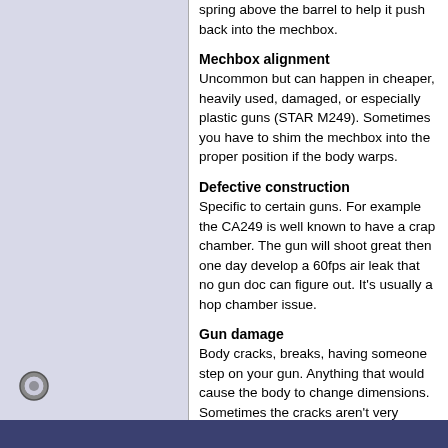spring above the barrel to help it push back into the mechbox.
Mechbox alignment
Uncommon but can happen in cheaper, heavily used, damaged, or especially plastic guns (STAR M249). Sometimes you have to shim the mechbox into the proper position if the body warps.
Defective construction
Specific to certain guns. For example the CA249 is well known to have a crap chamber. The gun will shoot great then one day develop a 60fps air leak that no gun doc can figure out. It's usually a hop chamber issue.
Gun damage
Body cracks, breaks, having someone step on your gun. Anything that would cause the body to change dimensions. Sometimes the cracks aren't very visible.
Last edited by ThunderCactus; February 14th, 2014 at 10:45..